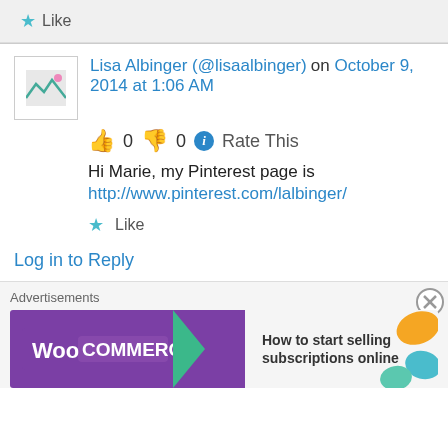Like
Lisa Albinger (@lisaalbinger) on October 9, 2014 at 1:06 AM
0  0  Rate This
Hi Marie, my Pinterest page is http://www.pinterest.com/lalbinger/
Like
Log in to Reply
[Figure (screenshot): WooCommerce advertisement banner: 'How to start selling subscriptions online']